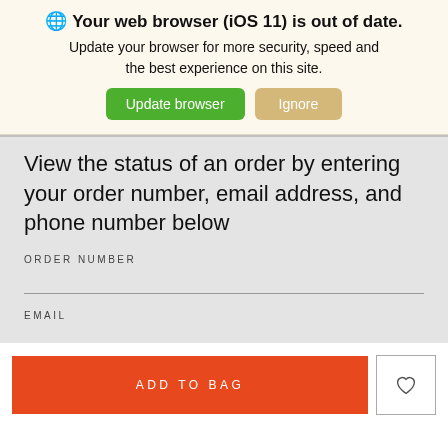🌐 Your web browser (iOS 11) is out of date. Update your browser for more security, speed and the best experience on this site.
Update browser
Ignore
View the status of an order by entering your order number, email address, and phone number below
ORDER NUMBER
EMAIL
ADD TO BAG